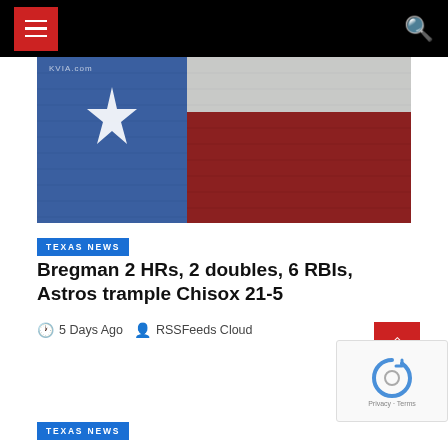Navigation bar with hamburger menu and search icon
[Figure (photo): Texas flag painted on a brick wall, showing blue section with white star on left, white stripe and red section on right. Text 'KVIA.com' visible at top left.]
TEXAS NEWS
Bregman 2 HRs, 2 doubles, 6 RBIs, Astros trample Chisox 21-5
5 Days Ago  RSSFeeds Cloud
TEXAS NEWS